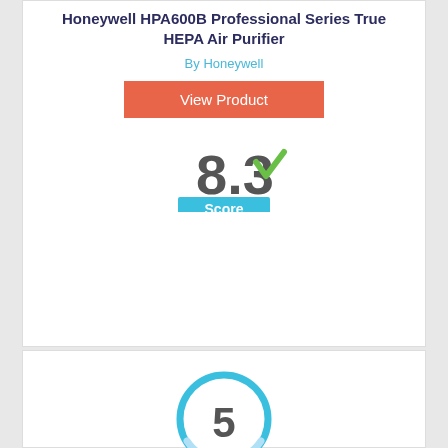Honeywell HPA600B Professional Series True HEPA Air Purifier
By Honeywell
View Product
[Figure (infographic): Score badge showing 8.3 with a green checkmark and a blue 'Score' label beneath]
[Figure (infographic): Circle badge with number 5 inside, outlined in blue gradient]